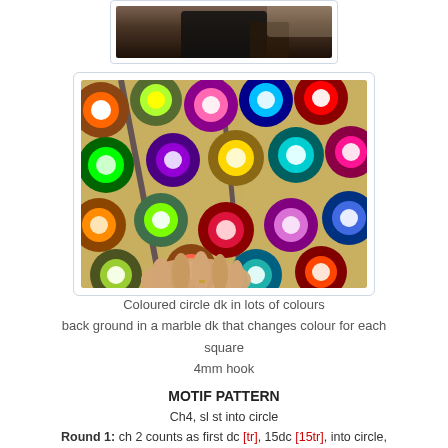[Figure (photo): Partial top of a photo showing dark background, cropped at the top of the page]
[Figure (photo): Colourful crochet blanket made of circle motifs in many bright colours on a marble dk background, with a hand visible touching the blanket]
Coloured circle dk in lots of colours
back ground in a marble dk that changes colour for each square
4mm hook
MOTIF PATTERN
Ch4, sl st into circle
Round 1: ch 2 counts as first dc [tr], 15dc [15tr], into circle, sl st to complete round